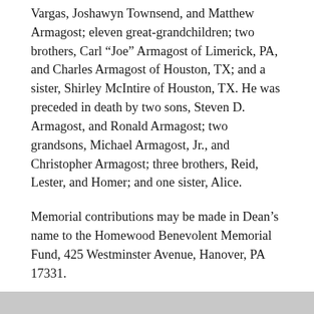Vargas, Joshawyn Townsend, and Matthew Armagost; eleven great-grandchildren; two brothers, Carl “Joe” Armagost of Limerick, PA, and Charles Armagost of Houston, TX; and a sister, Shirley McIntire of Houston, TX. He was preceded in death by two sons, Steven D. Armagost, and Ronald Armagost; two grandsons, Michael Armagost, Jr., and Christopher Armagost; three brothers, Reid, Lester, and Homer; and one sister, Alice.
Memorial contributions may be made in Dean’s name to the Homewood Benevolent Memorial Fund, 425 Westminster Avenue, Hanover, PA 17331.